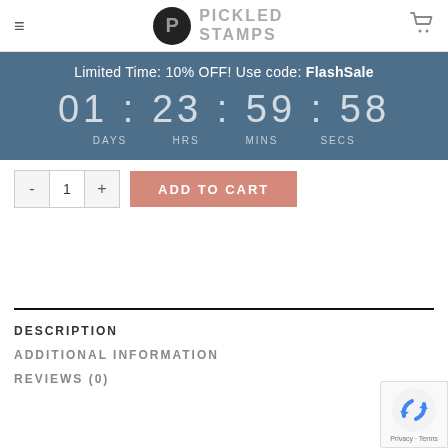≡  PICKLED STAMPS  🛒
Limited Time: 10% OFF! Use code: FlashSale
01 : 23 : 59 : 58
DAYS  HRS  MINS  SECS
- 1 +  ADD TO CART
DESCRIPTION
ADDITIONAL INFORMATION
REVIEWS (0)